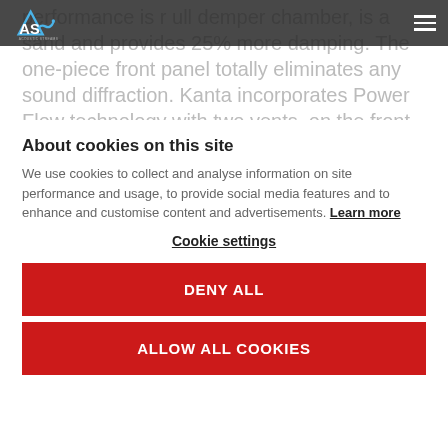Acoustic Streams logo and navigation menu
performance is r ull demper chamber, is a sand and provides 25% more damping. The one-piece front panel totally eliminates any sound diffraction. Kanta incorporates Power Flow technology with two vents, on the front and rear faces, to limit bass
About cookies on this site
We use cookies to collect and analyse information on site performance and usage, to provide social media features and to enhance and customise content and advertisements. Learn more
Cookie settings
DENY ALL
ALLOW ALL COOKIES